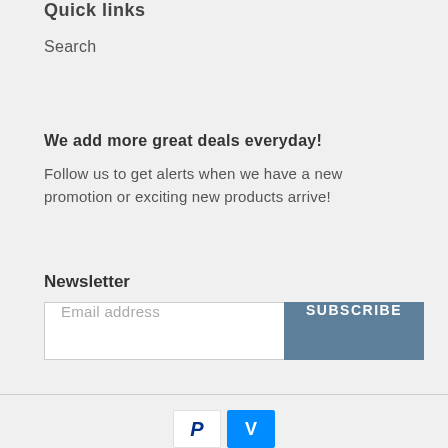Quick links
Search
We add more great deals everyday!
Follow us to get alerts when we have a new promotion or exciting new products arrive!
Newsletter
Email address  SUBSCRIBE
PayPal  Venmo payment icons